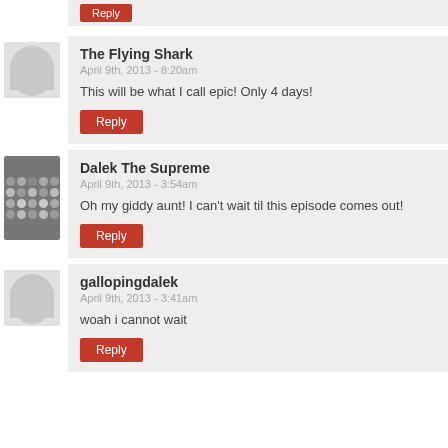Reply (partial, top)
The Flying Shark
April 9th, 2013 - 8:20am
This will be what I call epic! Only 4 days!
Reply
Dalek The Supreme
April 9th, 2013 - 3:54am
Oh my giddy aunt! I can't wait til this episode comes out!
Reply
gallopingdalek
April 9th, 2013 - 3:41am
woah i cannot wait
Reply